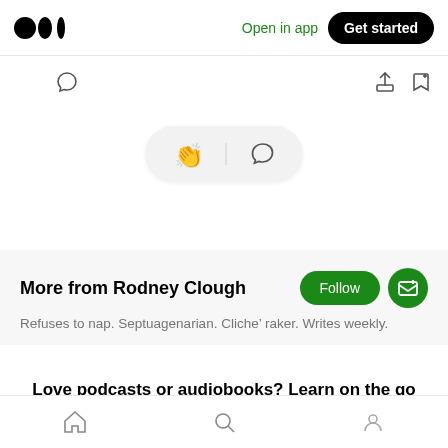[Figure (screenshot): Medium app top navigation bar with Medium logo, Open in app link, and Get started button]
[Figure (screenshot): Action bar with clap icon and comment icon on the left, share and bookmark icons on the right]
[Figure (screenshot): Floating pill with clap and comment icons]
More from Rodney Clough
Refuses to nap. Septuagenarian. Cliche’ raker. Writes weekly.
Love podcasts or audiobooks? Learn on the go with our new app.
[Figure (screenshot): Bottom navigation bar with home, search, and profile icons]